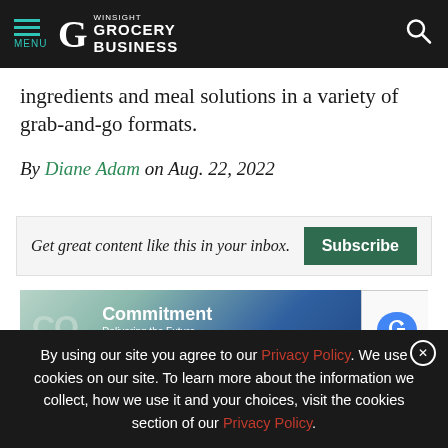MENU | Winsight Grocery Business
ingredients and meal solutions in a variety of grab-and-go formats.
By Diane Adam on Aug. 22, 2022
Get great content like this in your inbox. Subscribe
[Figure (other): Emerson CO2 refrigeration commitment advertisement banner]
By using our site you agree to our Privacy Policy. We use cookies on our site. To learn more about the information we collect, how we use it and your choices, visit the cookies section of our Privacy Policy.